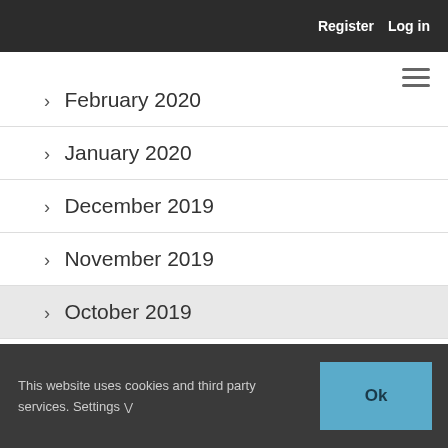Register   Log in
> February 2020
> January 2020
> December 2019
> November 2019
> October 2019
This website uses cookies and third party services. Settings ∨
Ok